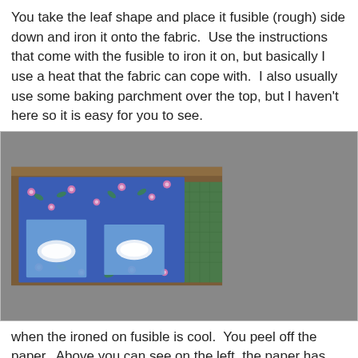You take the leaf shape and place it fusible (rough) side down and iron it onto the fabric.  Use the instructions that come with the fusible to iron it on, but basically I use a heat that the fabric can cope with.  I also usually use some baking parchment over the top, but I haven't here so it is easy for you to see.
[Figure (photo): Photograph showing blue floral fabric on a cutting mat with two blue fabric squares, each having a white leaf-shaped fusible webbing piece placed on top.]
when the ironed on fusible is cool.  You peel off the paper.  Above you can see on the left, the paper has been peeled off leaving a thin layer of glue on the fabric.
[Figure (photo): Photograph showing a partial view of fabric and cutting mat, bottom of page, partially cropped.]